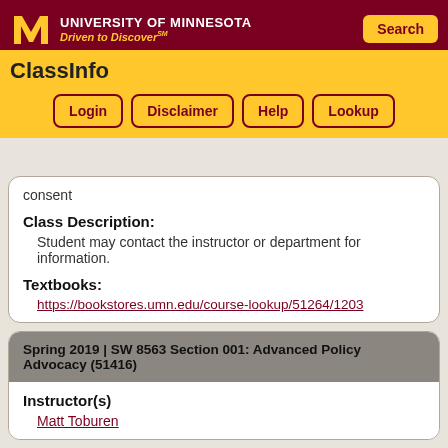University of Minnesota — Driven to Discover℠ — ClassInfo — Login | Disclaimer | Help | Lookup | Search
consent
Class Description:
Student may contact the instructor or department for information.
Textbooks:
https://bookstores.umn.edu/course-lookup/51264/1203
Spring 2019  |  SW 8563 Section 001: Advanced Policy Advocacy (51416)
Instructor(s)
Matt Toburen